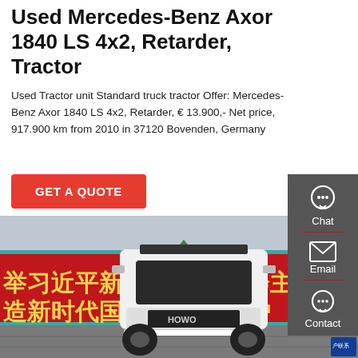Used Mercedes-Benz Axor 1840 LS 4x2, Retarder, Tractor
Used Tractor unit Standard truck tractor Offer: Mercedes-Benz Axor 1840 LS 4x2, Retarder, € 13.900,- Net price, 917.900 km from 2010 in 37120 Bovenden, Germany
GET A QUOTE
[Figure (photo): Front view of a white HOWO truck/tractor unit parked in front of a red Chinese banner with yellow characters, against a grey brick wall and cloudy sky.]